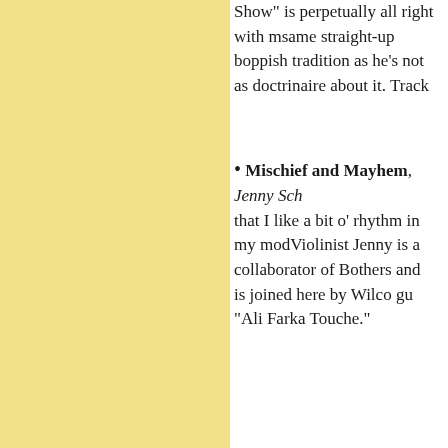Show" is perpetually all right with me. same straight-up boppish tradition as he's not as doctrinaire about it. Track
Mischief and Mayhem, Jenny Sch... that I like a bit o' rhythm in my mod... Violinist Jenny is a collaborator of B... others and is joined here by Wilco gu... "Ali Farka Touche."
[Figure (photo): Dark/black background photo, partially visible, showing what appears to be a person with a dark background and a glimpse of skin/hand at lower right.]